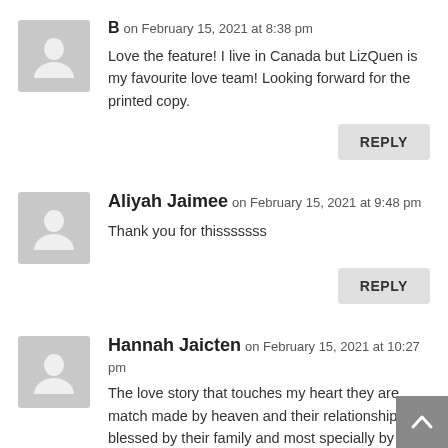B on February 15, 2021 at 8:38 pm
Love the feature! I live in Canada but LizQuen is my favourite love team! Looking forward for the printed copy.
REPLY
Aliyah Jaimee on February 15, 2021 at 9:48 pm
Thank you for thisssssss
REPLY
Hannah Jaicten on February 15, 2021 at 10:27 pm
The love story that touches my heart they are match made by heaven and their relationship is blessed by their family and most specially by